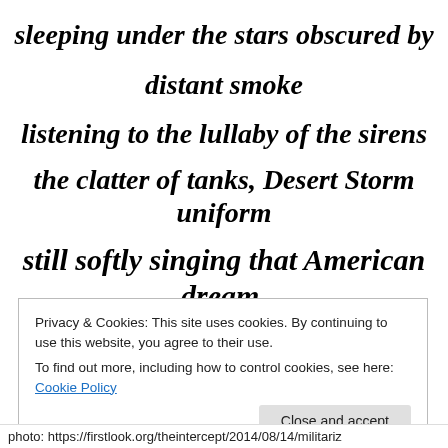sleeping under the stars obscured by distant smoke
listening to the lullaby of the sirens
the clatter of tanks, Desert Storm uniform
still softly singing that American dream.
.
Privacy & Cookies: This site uses cookies. By continuing to use this website, you agree to their use.
To find out more, including how to control cookies, see here: Cookie Policy
photo: https://firstlook.org/theintercept/2014/08/14/militariz